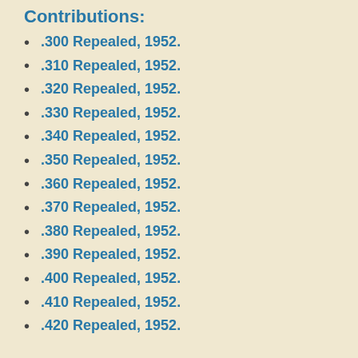Contributions:
.300 Repealed, 1952.
.310 Repealed, 1952.
.320 Repealed, 1952.
.330 Repealed, 1952.
.340 Repealed, 1952.
.350 Repealed, 1952.
.360 Repealed, 1952.
.370 Repealed, 1952.
.380 Repealed, 1952.
.390 Repealed, 1952.
.400 Repealed, 1952.
.410 Repealed, 1952.
.420 Repealed, 1952.